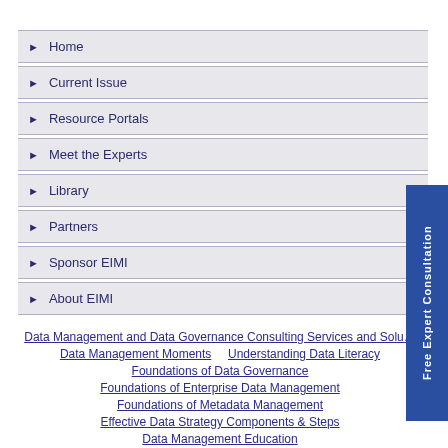▶ Home
▶ Current Issue
▶ Resource Portals
▶ Meet the Experts
▶ Library
▶ Partners
▶ Sponsor EIMI
▶ About EIMI
Free Expert Consultation
Data Management and Data Governance Consulting Services and Solutions
Data Management Moments    Understanding Data Literacy
Foundations of Data Governance
Foundations of Enterprise Data Management
Foundations of Metadata Management
Effective Data Strategy Components & Steps
Data Management Education